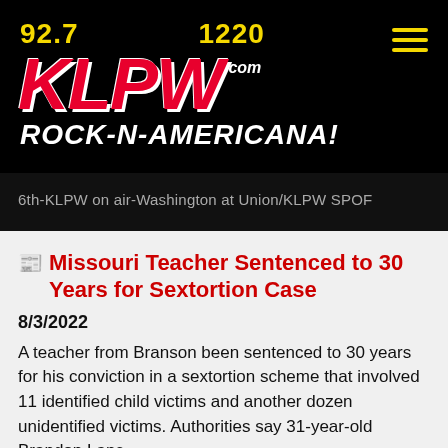[Figure (logo): KLPW Radio station logo with frequencies 92.7 and 1220, red italic KLPW text with .com, tagline ROCK-N-AMERICANA! in white italic, on black background]
6th-KLPW on air-Washington at Union/KLPW SPOF
Missouri Teacher Sentenced to 30 Years for Sextortion Case
8/3/2022
A teacher from Branson been sentenced to 30 years for his conviction in a sextortion scheme that involved 11 identified child victims and another dozen unidentified victims. Authorities say 31-year-old Brandon Lane